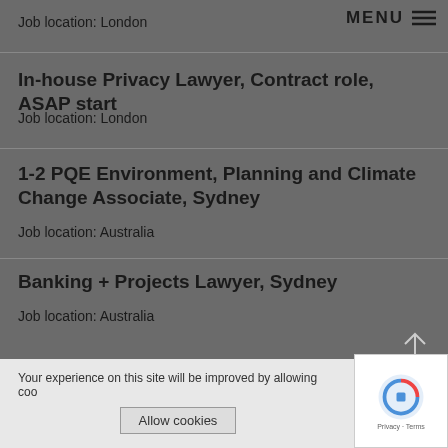MENU ≡
Job location: London
In-house Privacy Lawyer, Contract role, ASAP start
Job location: London
1-2 PQE Environment, Planning and Climate Change Associate, Sydney
Job location: Australia
Banking + Projects Lawyer, Sydney
Job location: Australia
Your experience on this site will be improved by allowing coo…
Allow cookies